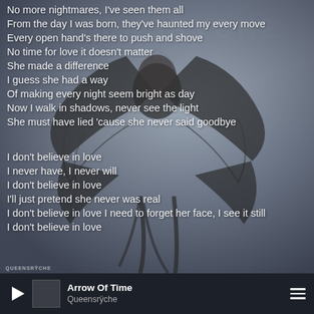[Figure (illustration): Dark moody background with a stylized metallic skull/creature artwork (Queensrÿche album art) visible in center-right, cloudy sky background]
No more nightmares, I've seen them all
From the day I was born, they've haunted my every move
Every open hand's there to push and shove
No time for love it doesn't matter
She made a difference
I guess she had a way
Of making every night seem bright as day
Now I walk in shadows, never see the light
She must have lied 'cause she never said goodbye

I don't believe in love
I never have, I never will
I don't believe in love
I'll just pretend she never was real
I don't believe in love I need to forget her face, I see it still
I don't believe in love
Arrow Of Time
Queensrÿche